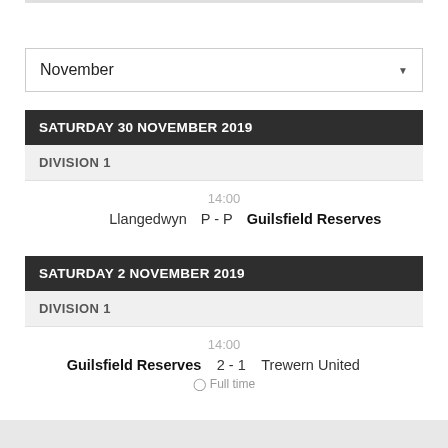November
SATURDAY 30 NOVEMBER 2019
DIVISION 1
14:00
Llangedwyn   P - P   Guilsfield Reserves
SATURDAY 2 NOVEMBER 2019
DIVISION 1
14:00
Guilsfield Reserves   2 - 1   Trewern United
Full time